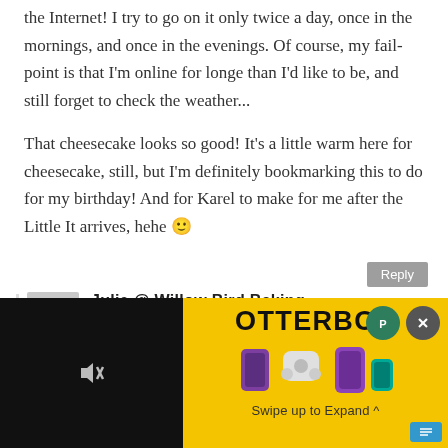the Internet! I try to go on it only twice a day, once in the mornings, and once in the evenings. Of course, my fail-point is that I'm online for longe than I'd like to be, and still forget to check the weather...
That cheesecake looks so good! It’s a little warm here for cheesecake, still, but I’m definitely bookmarking this to do for my birthday! And for Karel to make for me after the Little It arrives, hehe 🙂
Julie @ Willow Bird Baking
September 10, 2012 at 5:26 pm (10 years ago)
[Figure (screenshot): Advertisement banner for OtterBox showing product images of phone cases and earbuds on yellow background, with mute button on left black panel, close buttons (green P and gray X) in top right, and 'Swipe up to Expand' text at bottom.]